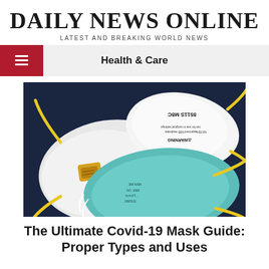DAILY NEWS ONLINE
LATEST AND BREAKING WORLD NEWS
Health & Care
[Figure (photo): Three N95/respirator face masks on a dark background — one white mask with yellow straps and an orange valve, one white mask with a WARNING label and 3M branding (8511S M8C), and one teal/blue N95 respirator mask with yellow straps.]
The Ultimate Covid-19 Mask Guide: Proper Types and Uses